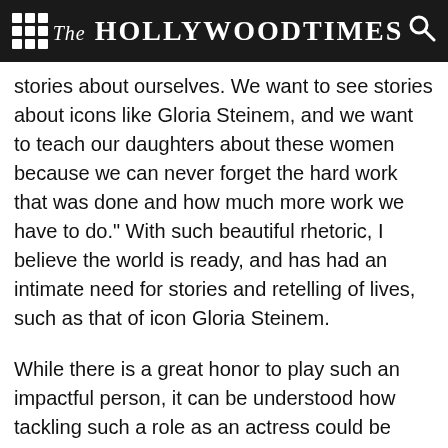The Hollywood Times
stories about ourselves.  We want to see stories about icons like Gloria Steinem, and we want to teach our daughters about these women because we can never forget the hard work that was done and how much more work we have to do." With such beautiful rhetoric, I believe the world is ready, and has had an intimate need for stories and retelling of lives, such as that of icon Gloria Steinem.
While there is a great honor to play such an impactful person, it can be understood how tackling such a role as an actress could be extremely daunting and nerve wracking. Lahti says, “It was really fun.  Gloria’s a friend of mine, so it was a little more daunting, I think, than usual. The first run-through I remember I was so nervous, and